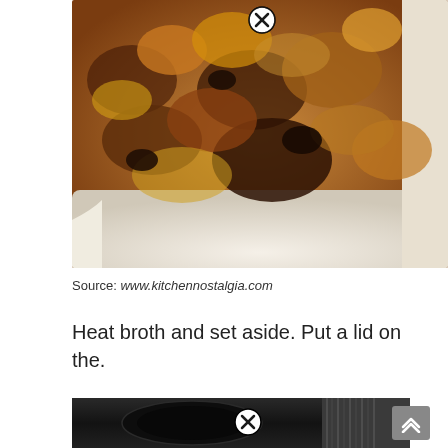[Figure (photo): A baking dish filled with a cheesy, golden-brown casserole with chunks of bread and meat, viewed from above at an angle. A circular close/X button is visible at the top center of the image.]
Source: www.kitchennostalgia.com
Heat broth and set aside. Put a lid on the.
[Figure (photo): A dark image showing what appears to be a cast iron pan or cooking vessel, partially visible. A circular close/X button is visible at the bottom center. A dark sidebar with a scroll-up arrow button is visible on the right edge.]